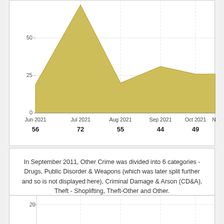[Figure (area-chart): Crime counts over time (partial view)]
In September 2011, Other Crime was divided into 6 categories - Drugs, Public Disorder & Weapons (which was later split further and so is not displayed here), Criminal Damage & Arson (CD&A), Theft - Shoplifting, Theft-Other and Other.
[Figure (area-chart): Second chart (partial view)]